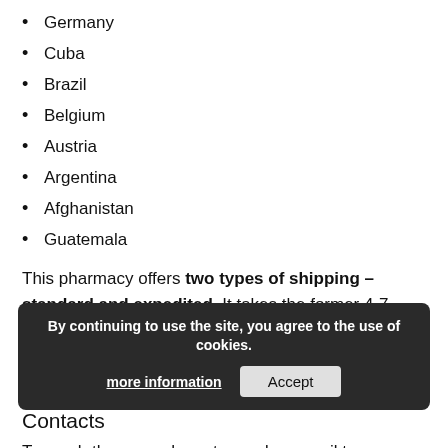Germany
Cuba
Brazil
Belgium
Austria
Argentina
Afghanistan
Guatemala
This pharmacy offers two types of shipping – standard and expedited. It takes the former 4-7 days to ship drugs to the United States and the latter will take only 2-4 days. International shipping takes 7- 20 days.
Contacts
To reach them, you have to send an email to hello@nootropics.com or fill their online form. You can also visit any of their offices below.
By continuing to use the site, you agree to the use of cookies. more information  Accept